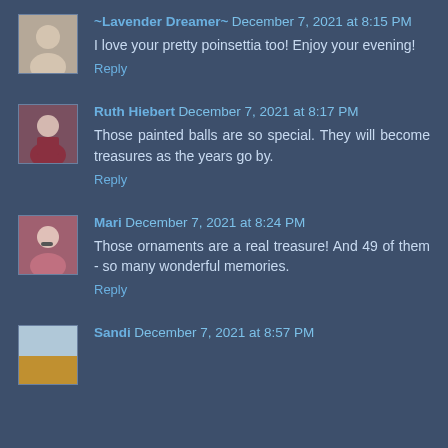~Lavender Dreamer~ December 7, 2021 at 8:15 PM
I love your pretty poinsettia too! Enjoy your evening!
Reply
Ruth Hiebert December 7, 2021 at 8:17 PM
Those painted balls are so special. They will become treasures as the years go by.
Reply
Mari December 7, 2021 at 8:24 PM
Those ornaments are a real treasure! And 49 of them - so many wonderful memories.
Reply
Sandi December 7, 2021 at 8:57 PM